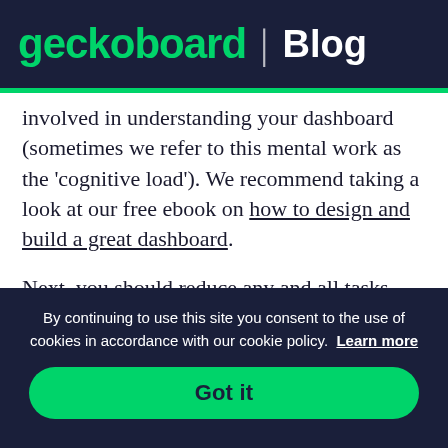geckoboard | Blog
involved in understanding your dashboard (sometimes we refer to this mental work as the 'cognitive load'). We recommend taking a look at our free ebook on how to design and build a great dashboard.
Next, you should reduce any and all tasks
By continuing to use this site you consent to the use of cookies in accordance with our cookie policy. Learn more
Got it